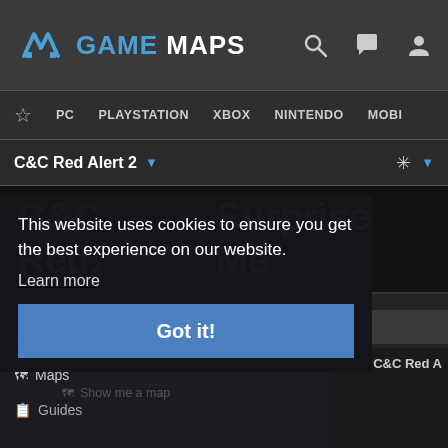GAME MAPS
PC  PLAYSTATION  XBOX  NINTENDO  MOBI
C&C Red Alert 2
C&C Red.   Surprise Me
Discover new content based on your
Home
This website uses cookies to ensure you get the best experience on our website.
Learn more
Maps
Surprise me
Guides
Show me a map
Got it!
C&C Red A
Gallery